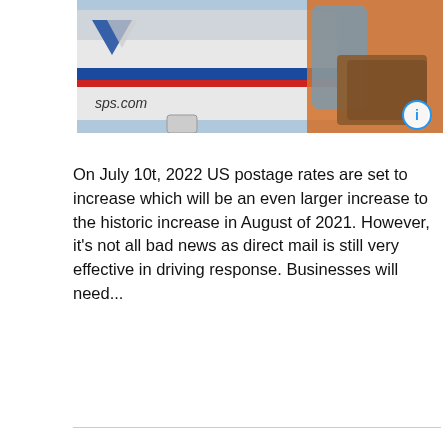[Figure (photo): A USPS mail truck with blue, red and white stripes and the text 'usps.com' visible. A mail carrier in a blue shirt is holding a large stack of packages. The right side of the image has an orange overlay. There is a circular info icon (i) in the lower right of the image.]
On July 10t, 2022 US postage rates are set to increase which will be an even larger increase to the historic increase in August of 2021. However, it's not all bad news as direct mail is still very effective in driving response. Businesses will need...